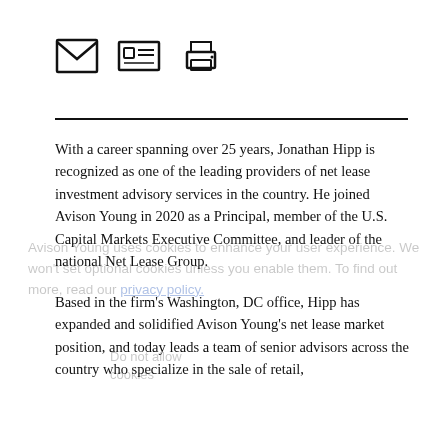[Figure (other): Three icons: envelope (email), business card / ID card, and printer]
With a career spanning over 25 years, Jonathan Hipp is recognized as one of the leading providers of net lease investment advisory services in the country. He joined Avison Young in 2020 as a Principal, member of the U.S. Capital Markets Executive Committee, and leader of the national Net Lease Group.

Based in the firm’s Washington, DC office, Hipp has expanded and solidified Avison Young’s net lease market position, and today leads a team of senior advisors across the country who specialize in the sale of retail, office and industrial net lease assets and...